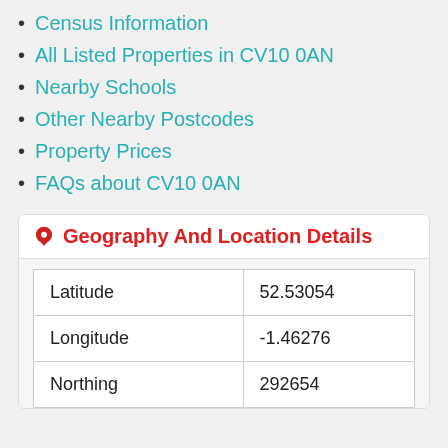Census Information
All Listed Properties in CV10 0AN
Nearby Schools
Other Nearby Postcodes
Property Prices
FAQs about CV10 0AN
Geography And Location Details
|  |  |
| --- | --- |
| Latitude | 52.53054 |
| Longitude | -1.46276 |
| Northing | 292654 |